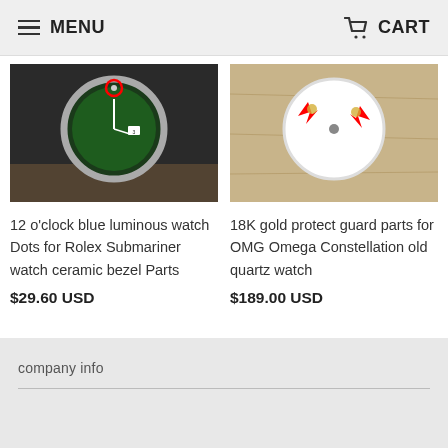MENU  CART
[Figure (photo): Photo of a green Rolex Submariner watch with a red circle highlighting the 12 o'clock luminous dot on the ceramic bezel]
12 o'clock blue luminous watch Dots for Rolex Submariner watch ceramic bezel Parts
$29.60 USD
[Figure (photo): Photo of a watch dial close-up with red arrows pointing to gold protect guard parts, on a light wooden background]
18K gold protect guard parts for OMG Omega Constellation old quartz watch
$189.00 USD
company info